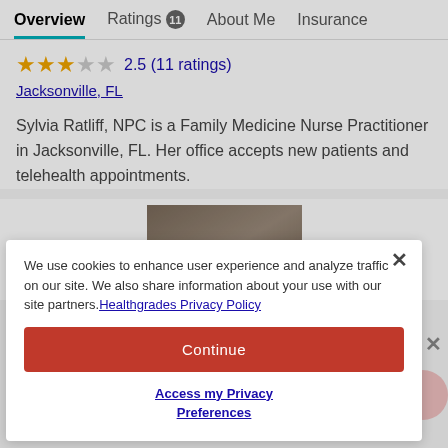Overview | Ratings 11 | About Me | Insurance
2.5 (11 ratings)
Jacksonville, FL
Sylvia Ratliff, NPC is a Family Medicine Nurse Practitioner in Jacksonville, FL. Her office accepts new patients and telehealth appointments.
[Figure (photo): Partial photo of a person (Sylvia Ratliff) showing top of head with dark hair against a natural background]
We use cookies to enhance user experience and analyze traffic on our site. We also share information about your use with our site partners. Healthgrades Privacy Policy
Continue
Access my Privacy Preferences